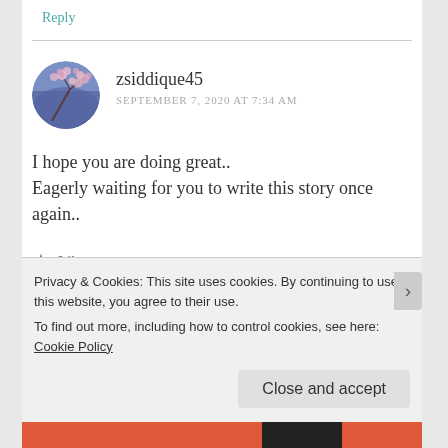Reply
[Figure (photo): Circular avatar photo showing pink cherry blossoms on a blurred blue-purple background]
zsiddique45
SEPTEMBER 7, 2020 AT 7:34 AM
I hope you are doing great..
Eagerly waiting for you to write this story once again..
★ Like
Privacy & Cookies: This site uses cookies. By continuing to use this website, you agree to their use.
To find out more, including how to control cookies, see here: Cookie Policy